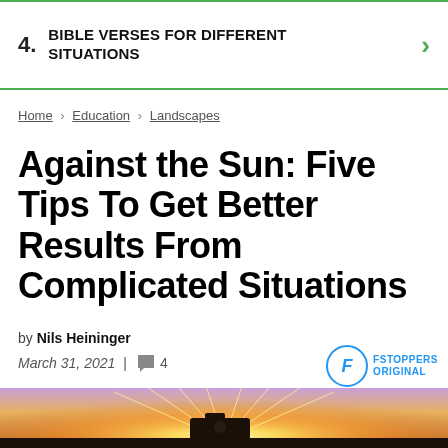4. BIBLE VERSES FOR DIFFERENT SITUATIONS
Home > Education > Landscapes
Against the Sun: Five Tips To Get Better Results From Complicated Situations
by Nils Heininger
March 31, 2021 | 4
[Figure (photo): Photograph of a camera silhouette against a bright sun with sunstar effect at sunset/golden hour, warm orange and purple tones in sky]